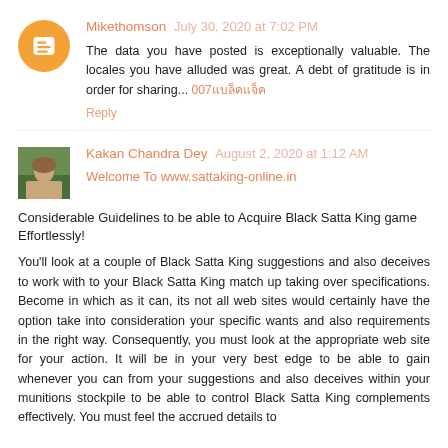Mikethomson July 30, 2020 at 7:02 PM
The data you have posted is exceptionally valuable. The locales you have alluded was great. A debt of gratitude is in order for sharing... 007แบล็คแจ็ค
Reply
Kakan Chandra Dey August 2, 2020 at 1:12 AM
Welcome To www.sattaking-online.in
Considerable Guidelines to be able to Acquire Black Satta King game Effortlessly!
You'll look at a couple of Black Satta King suggestions and also deceives to work with to your Black Satta King match up taking over specifications. Become in which as it can, its not all web sites would certainly have the option take into consideration your specific wants and also requirements in the right way. Consequently, you must look at the appropriate web site for your action. It will be in your very best edge to be able to gain whenever you can from your suggestions and also deceives within your munitions stockpile to be able to control Black Satta King complements effectively. You must feel the accrued details to